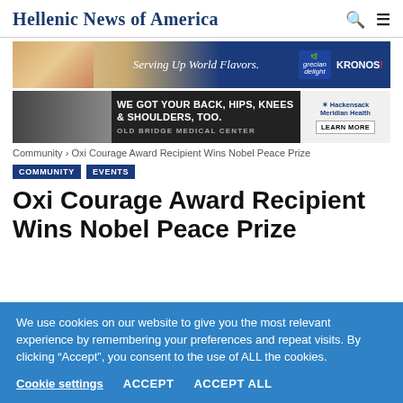Hellenic News of America
[Figure (illustration): Advertisement banner: Serving Up World Flavors - Grecian Delight KRONOS]
[Figure (illustration): Advertisement banner: WE GOT YOUR BACK, HIPS, KNEES & SHOULDERS, TOO. OLD BRIDGE MEDICAL CENTER - Hackensack Meridian Health LEARN MORE]
Community › Oxi Courage Award Recipient Wins Nobel Peace Prize
COMMUNITY
EVENTS
Oxi Courage Award Recipient Wins Nobel Peace Prize
We use cookies on our website to give you the most relevant experience by remembering your preferences and repeat visits. By clicking “Accept”, you consent to the use of ALL the cookies.
Cookie settings   ACCEPT   ACCEPT ALL